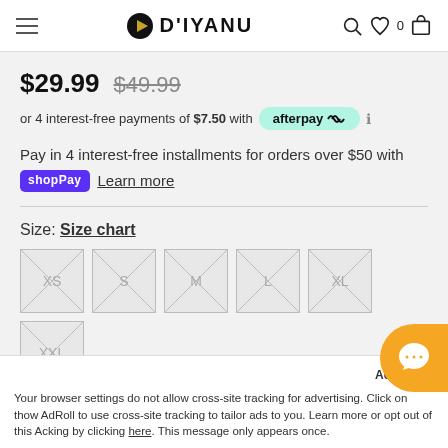D'IYANU
$29.99  $49.99
or 4 interest-free payments of $7.50 with afterpay
Pay in 4 interest-free installments for orders over $50 with shop Pay Learn more
Size: Size chart
XS S M L XL XXL
of stock?
Your browser settings do not allow cross-site tracking for advertising. Click on this to allow AdRoll to use cross-site tracking to tailor ads to you. Learn more or opt out of this AdRoll tracking by clicking here. This message only appears once.